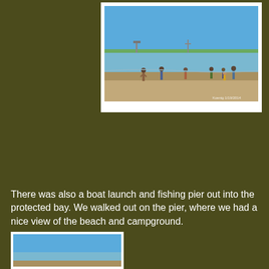[Figure (photo): People wading in a shallow bay/beach area with a pier or breakwater visible in the background under a clear blue sky. Shoreline with sandy beach in foreground.]
There was also a boat launch and fishing pier out into the protected bay.  We walked out on the pier, where we had a nice view of the beach and campground.
[Figure (photo): Partial photo visible at bottom of page, appears to show water/bay area with blue sky.]